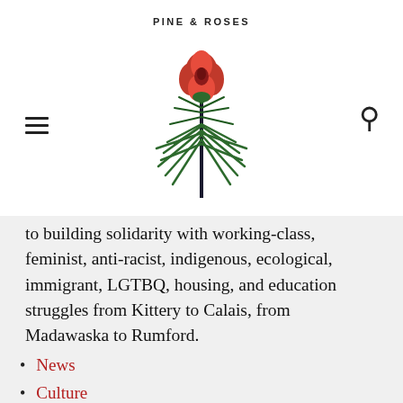PINE & ROSES
[Figure (logo): Pine & Roses logo: a red rose with green pine needles and a dark stem]
to building solidarity with working-class, feminist, anti-racist, indigenous, ecological, immigrant, LGTBQ, housing, and education struggles from Kittery to Calais, from Madawaska to Rumford.
News
Culture
Community Events
Opinion
Struggle